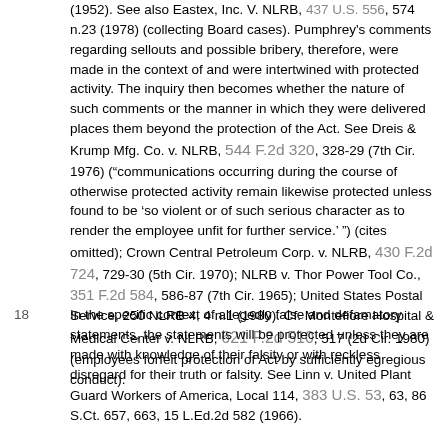(1952). See also Eastex, Inc. V. NLRB, 437 U.S. 556, 574 n.23 (1978) (collecting Board cases). Pumphrey's comments regarding sellouts and possible bribery, therefore, were made in the context of and were intertwined with protected activity. The inquiry then becomes whether the nature of such comments or the manner in which they were delivered places them beyond the protection of the Act. See Dreis & Krump Mfg. Co. v. NLRB, 544 F.2d 320, 328-29 (7th Cir. 1976) ("communications occurring during the course of otherwise protected activity remain likewise protected unless found to be 'so violent or of such serious character as to render the employee unfit for further service.' ") (cites omitted); Crown Central Petroleum Corp. v. NLRB, 430 F.2d 724, 729-30 (5th Cir. 1970); NLRB v. Thor Power Tool Co., 351 F.2d 584, 586-87 (7th Cir. 1965); United States Postal Service, 250 NLRB 4, 4 n.1 (1980). Cf. Montefiore Hospital & Medical Center v. NLRB, 621 F.2d 510, 517 (2d Cir. 1980) (employees forfeit protection of Act by sufficiently egregious conduct).
18  In the specific context of allegedly false and defamatory statements, the statements will be protected unless they are made with knowledge of their falsity or with reckless disregard for their truth or falsity. See Linn v. United Plant Guard Workers of America, Local 114, 383 U.S. 53, 63, 86 S.Ct. 657, 663, 15 L.Ed.2d 582 (1966).